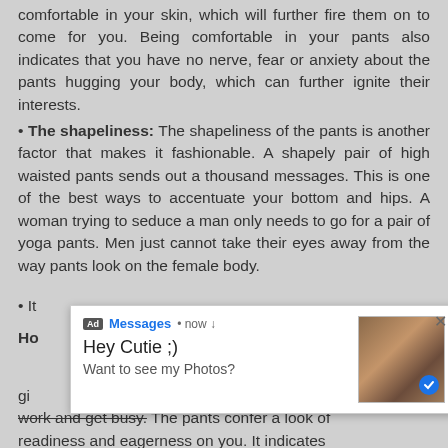comfortable in your skin, which will further fire them on to come for you. Being comfortable in your pants also indicates that you have no nerve, fear or anxiety about the pants hugging your body, which can further ignite their interests.
The shapeliness: The shapeliness of the pants is another factor that makes it fashionable. A shapely pair of high waisted pants sends out a thousand messages. This is one of the best ways to accentuate your bottom and hips. A woman trying to seduce a man only needs to go for a pair of yoga pants. Men just cannot take their eyes away from the way pants look on the female body.
• It...
Ho...
[Figure (screenshot): Ad popup notification styled as a messaging app alert. Shows 'Ad Messages • now' header with 'Hey Cutie ;)' and 'Want to see my Photos?' text, with a thumbnail image of a person and a close X button.]
give... to work and get busy. The pants confer a look of readiness and eagerness on you. It indicates immovability and readiness to get busy. Men love